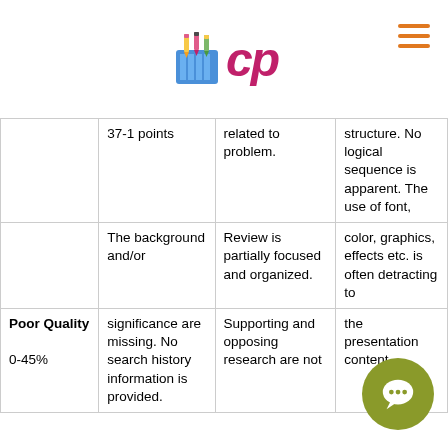[Figure (logo): Colorful pencil cup logo with CP text]
|  | 37-1 points | related to problem. | structure. No logical sequence is apparent. The use of font, color, graphics, effects etc. is often detracting to the presentation content. |
| --- | --- | --- | --- |
|  | The background and/or | Review is partially focused and organized. |  |
| Poor Quality | significance are missing. | Supporting |  |
| 0-45% | No search history information is provided. | and opposing research are not |  |